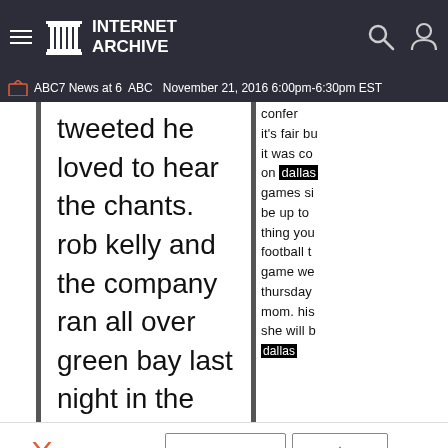Internet Archive
ABC7 News at 6  ABC  November 21, 2016 6:00pm-6:30pm EST
tweeted he loved to hear the chants. rob kelly and the company ran all over green bay last night in the primetime victory. and now the redskins have
it's fair bu it was co on dallas games si be up to thing you football t game we thursday mom. his she will b
[Figure (screenshot): TV icon (orange/red television set illustration)]
Borrow Program
Favorite
ABC7 News at 6
ABC November 21, 2016 6:00pm-6:30pm EST